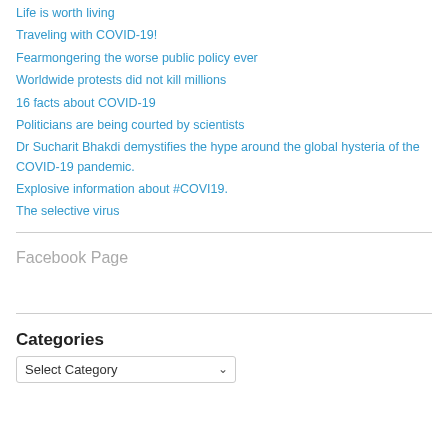Life is worth living
Traveling with COVID-19!
Fearmongering the worse public policy ever
Worldwide protests did not kill millions
16 facts about COVID-19
Politicians are being courted by scientists
Dr Sucharit Bhakdi demystifies the hype around the global hysteria of the COVID-19 pandemic.
Explosive information about #COVI19.
The selective virus
Facebook Page
Categories